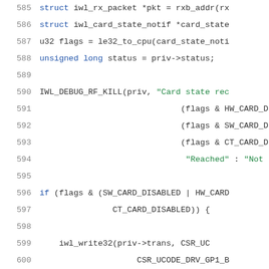[Figure (screenshot): Source code snippet in C showing lines 585–605 with syntax highlighting. Line numbers in grey on the left, keywords in blue, string literals in green, and identifiers in dark/black.]